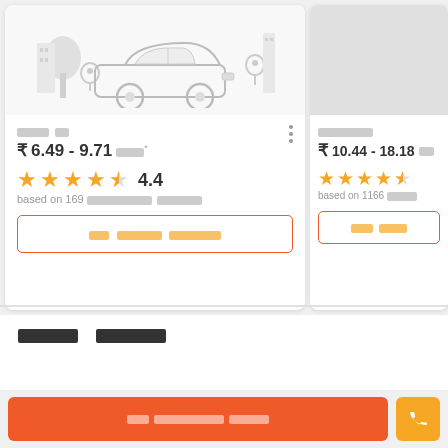[Figure (illustration): Car illustration (sedan silhouette) with location pin icons on a light background]
█████
₹ 6.49 - 9.71 █████*
[Figure (other): 4.4 star rating with 4 full stars and 1 half star, orange color]
based on 169 ██████████████ █████████
█████ ████████ ████████████
████████
₹ 10.44 - 18.18 ██...
[Figure (other): 4+ star rating orange, partial view]
based on 1166 ██████...
███████ ████...
███████ ███████
████ ████████████ ██████